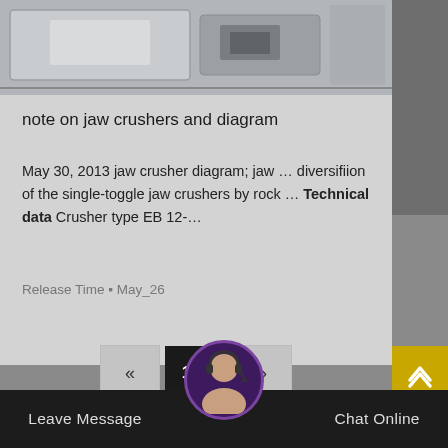[Figure (photo): Partial view of a jaw crusher machine, grey/metallic industrial equipment photographed from above/side angle]
note on jaw crushers and diagram
May 30, 2013 jaw crusher diagram; jaw ... diversifiion of the single-toggle jaw crushers by rock ... Technical data Crusher type EB 12-...
Release Time ▪ May_26
« 156 »
Leave Message   Chat Online